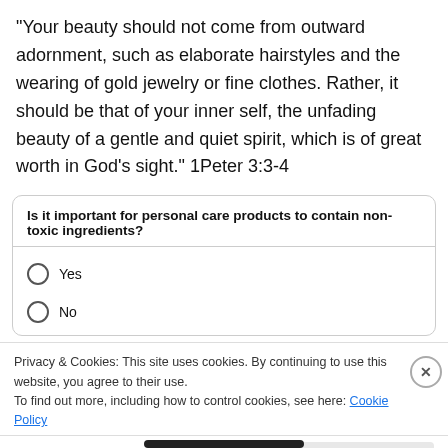“Your beauty should not come from outward adornment, such as elaborate hairstyles and the wearing of gold jewelry or fine clothes. Rather, it should be that of your inner self, the unfading beauty of a gentle and quiet spirit, which is of great worth in God’s sight.” 1Peter 3:3-4
Is it important for personal care products to contain non-toxic ingredients?
Yes
No
Privacy & Cookies: This site uses cookies. By continuing to use this website, you agree to their use.
To find out more, including how to control cookies, see here: Cookie Policy